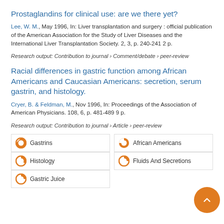Prostaglandins for clinical use: are we there yet?
Lee, W. M., May 1996, In: Liver transplantation and surgery : official publication of the American Association for the Study of Liver Diseases and the International Liver Transplantation Society. 2, 3, p. 240-241 2 p.
Research output: Contribution to journal › Comment/debate › peer-review
Racial differences in gastric function among African Americans and Caucasian Americans: secretion, serum gastrin, and histology.
Cryer, B. & Feldman, M., Nov 1996, In: Proceedings of the Association of American Physicians. 108, 6, p. 481-489 9 p.
Research output: Contribution to journal › Article › peer-review
Gastrins
African Americans
Histology
Fluids And Secretions
Gastric Juice